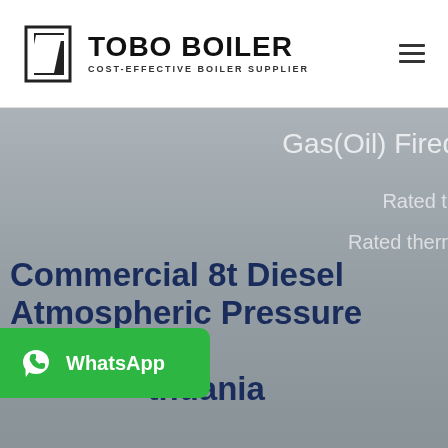[Figure (logo): Tobo Boiler logo with icon and text 'TOBO BOILER COST-EFFECTIVE BOILER SUPPLIER']
[Figure (photo): Hero image with industrial boiler equipment in background, partially obscured by overlay. Contains partial text 'Gas(Oil) Fired', 'Rated th', 'Rated therm' on right side, and main title 'Commercial 8t Diesel Atmospheric Pressure Boiler Lithuania' overlaid at bottom-left. A WhatsApp button is visible at bottom-left.]